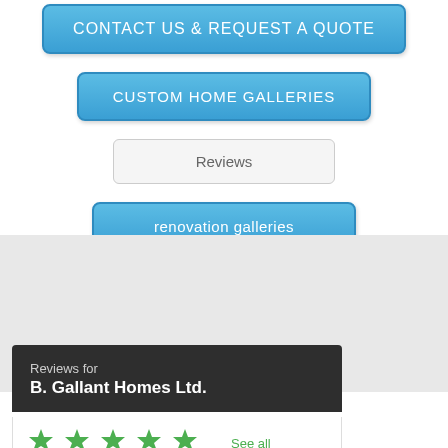[Figure (screenshot): Button: CONTACT US & REQUEST A QUOTE (blue gradient, rounded)]
[Figure (screenshot): Button: CUSTOM HOME GALLERIES (blue gradient, rounded)]
[Figure (screenshot): Button: Reviews (light grey, rounded border)]
[Figure (screenshot): Button: renovation galleries (blue gradient, rounded)]
Reviews for
B. Gallant Homes Ltd.
See all